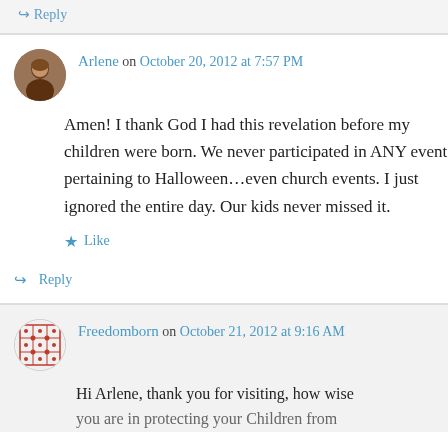↪ Reply
Arlene on October 20, 2012 at 7:57 PM
Amen! I thank God I had this revelation before my children were born. We never participated in ANY event pertaining to Halloween…even church events. I just ignored the entire day. Our kids never missed it.
★ Like
↪ Reply
Freedomborn on October 21, 2012 at 9:16 AM
Hi Arlene, thank you for visiting, how wise you are in protecting your Children from